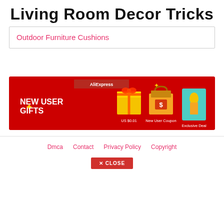Living Room Decor Tricks
Outdoor Furniture Cushions
[Figure (infographic): AliExpress advertisement banner with red background showing 'NEW USER GIFTS', icons for US $0.01 item, New User Coupon, and Exclusive Deal]
Dmca   Contact   Privacy Policy   Copyright
✕ CLOSE